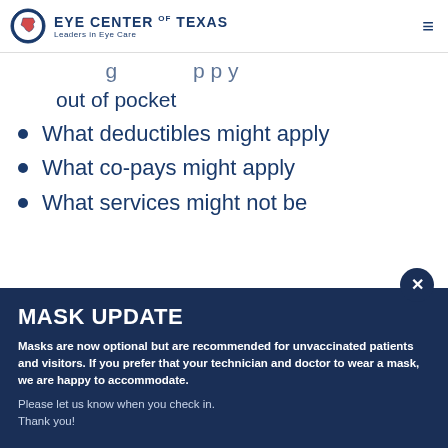Eye Center of Texas — Leaders in Eye Care
…you might have to pay out of pocket
What deductibles might apply
What co-pays might apply
What services might not be
MASK UPDATE
Masks are now optional but are recommended for unvaccinated patients and visitors. If you prefer that your technician and doctor to wear a mask, we are happy to accommodate.
Please let us know when you check in.
Thank you!